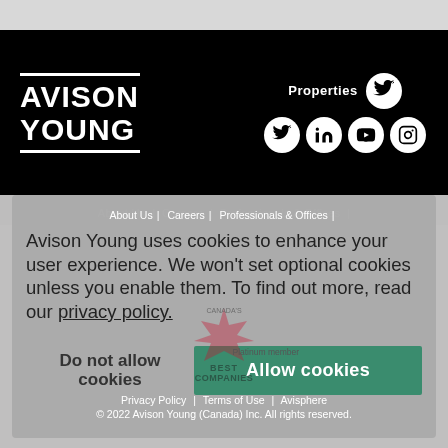[Figure (logo): Avison Young company logo in white on black background, with white horizontal lines above and below the text]
[Figure (infographic): Social media icons: Twitter (Properties), Twitter, LinkedIn, YouTube, Instagram — white circles on black background]
About Us | Careers | Professionals & Offices |
Avison Young uses cookies to enhance your user experience. We won't set optional cookies unless you enable them. To find out more, read our privacy policy.
[Figure (illustration): Canada's Best Managed Companies badge / logo watermark]
Platinum member
Do not allow cookies
Allow cookies
Privacy Policy | Terms of Use | Avisphere
© 2022 Avison Young (Canada) Inc. All rights reserved.